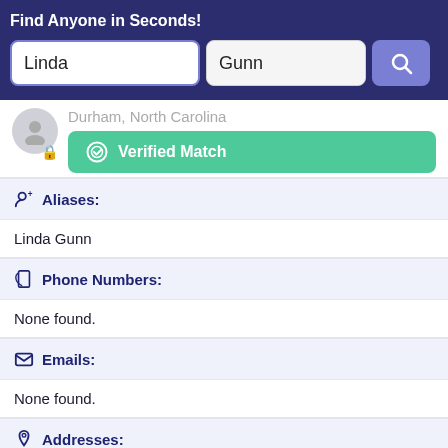Find Anyone in Seconds!
Linda
Gunn
Durham, North Carolina
Verified Match
Aliases:
Linda Gunn
Phone Numbers:
None found.
Emails:
None found.
Addresses:
Raleigh, North Carolina, United States
Durham, North Carolina, United States